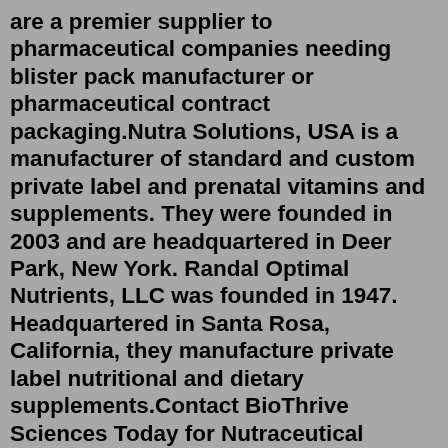are a premier supplier to pharmaceutical companies needing blister pack manufacturer or pharmaceutical contract packaging.Nutra Solutions, USA is a manufacturer of standard and custom private label and prenatal vitamins and supplements. They were founded in 2003 and are headquartered in Deer Park, New York. Randal Optimal Nutrients, LLC was founded in 1947. Headquartered in Santa Rosa, California, they manufacture private label nutritional and dietary supplements.Contact BioThrive Sciences Today for Nutraceutical Manufacturing Want top-quality nutraceutical manufacturing for your health and nutrition company? Contact BioThrive Sciences today at 844-263-3657 and ask about free label design on your first order!Aelicure Pharma is developing High Quality Nutraceutical Products. We are Manufacturing Best Quality Products with dedication and Committed Schedule Delivery. So, Our Customers can compete their competitors easily in Market. Contract Manufacturing. Product Development. Product Formulation. Private Label...